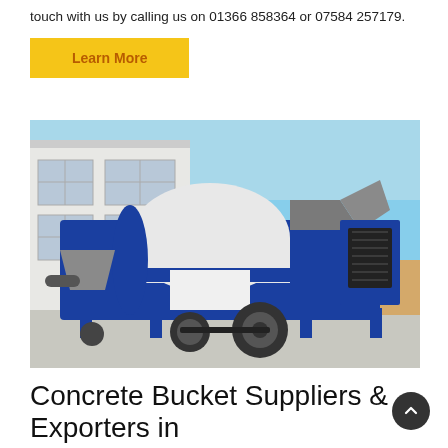touch with us by calling us on 01366 858364 or 07584 257179.
Learn More
[Figure (photo): A blue and white concrete mixer pump machine on wheels, parked outdoors in front of a light-colored industrial building with a clear blue sky background.]
Concrete Bucket Suppliers & Exporters in UK